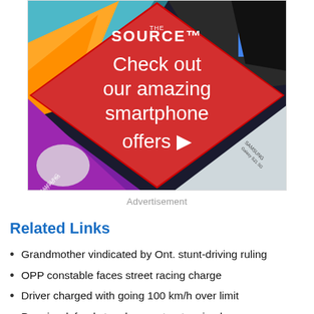[Figure (advertisement): The Source advertisement with red diamond background and smartphones, text: 'Check out our amazing smartphone offers ▶']
Advertisement
Related Links
Grandmother vindicated by Ont. stunt-driving ruling
OPP constable faces street racing charge
Driver charged with going 100 km/h over limit
Premier defends tough new street racing laws
85-year-old charged under Ont. street racing law